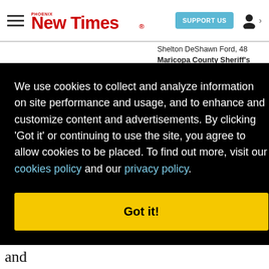Phoenix New Times — SUPPORT US — [user icon]
Shelton DeShawn Ford, 48 Maricopa County Sheriff's Office
We use cookies to collect and analyze information on site performance and usage, and to enhance and customize content and advertisements. By clicking 'Got it' or continuing to use the site, you agree to allow cookies to be placed. To find out more, visit our cookies policy and our privacy policy.
Got it!
He could be fined as much as $4.8 million and